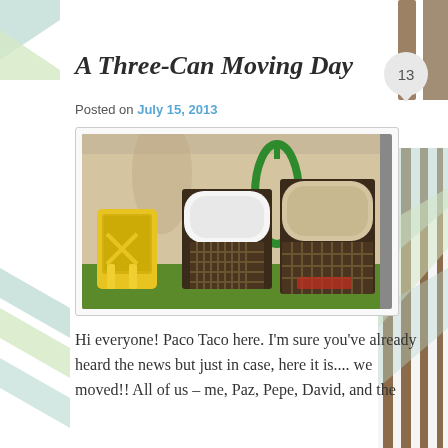A Three-Can Moving Day
Posted on July 15, 2013
[Figure (photo): Three pet travel crates and a yellow backpack carrier sitting on green grass against a beige wall with a green hose hanging nearby and a palm tree.]
Hi everyone! Paco Taco here. I'm sure you've already heard the news but just in case, here it is.... we moved!! All of us – me, Paz, Pepe, David, and the